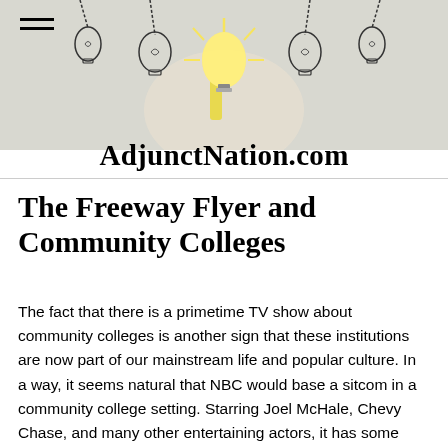AdjunctNation.com
The Freeway Flyer and Community Colleges
The fact that there is a primetime TV show about community colleges is another sign that these institutions are now part of our mainstream life and popular culture. In a way, it seems natural that NBC would base a sitcom in a community college setting. Starring Joel McHale, Chevy Chase, and many other entertaining actors, it has some clever moments and some genuine laughs. What it does not have, though, is an actual resemblance to the community colleges I know. This freeway flyer population is the different...